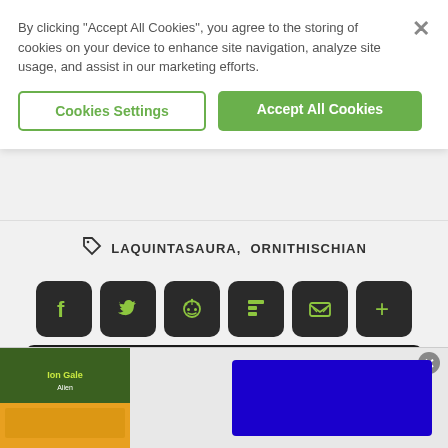By clicking “Accept All Cookies”, you agree to the storing of cookies on your device to enhance site navigation, analyze site usage, and assist in our marketing efforts.
Cookies Settings
Accept All Cookies
LAQUINTASAURA,  ORNITHISCHIAN
[Figure (screenshot): Social media share buttons: Facebook, Twitter, Reddit, Flipboard, Email, More]
DISCUSS (0 COMMENTS)
[Figure (screenshot): Advertisement bar at bottom with video thumbnail and blue ad box]